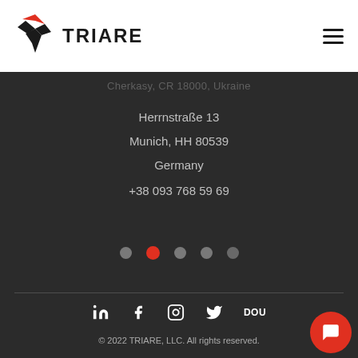[Figure (logo): Triare logo with red stylized bird/arrow icon and TRIARE text in bold black]
[Figure (other): Hamburger menu icon (three horizontal lines) in top right corner]
Cherkasy, CR 18000, Ukraine
Herrnstraße 13
Munich, HH 80539
Germany
+38 093 768 59 69
[Figure (other): Pagination dots: 5 dots, second one is red/active, others are grey]
[Figure (other): Social media icons row: LinkedIn, Facebook, Instagram, Twitter, DOU]
© 2022 TRIARE, LLC. All rights reserved.